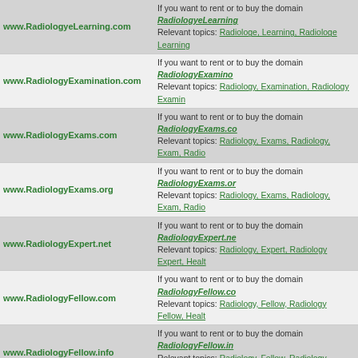| Domain | Description |
| --- | --- |
| www.RadiologyeLearning.com | If you want to rent or to buy the domain RadiologyeLearning… Relevant topics: Radiologe, Learning, Radiologe Learning… |
| www.RadiologyExamination.com | If you want to rent or to buy the domain RadiologyExamino… Relevant topics: Radiology, Examination, Radiology Examin… |
| www.RadiologyExams.com | If you want to rent or to buy the domain RadiologyExams.co… Relevant topics: Radiology, Exams, Radiology, Exam, Radio… |
| www.RadiologyExams.org | If you want to rent or to buy the domain RadiologyExams.or… Relevant topics: Radiology, Exams, Radiology, Exam, Radio… |
| www.RadiologyExpert.net | If you want to rent or to buy the domain RadiologyExpert.ne… Relevant topics: Radiology, Expert, Radiology Expert, Healt… |
| www.RadiologyFellow.com | If you want to rent or to buy the domain RadiologyFellow.co… Relevant topics: Radiology, Fellow, Radiology Fellow, Healt… |
| www.RadiologyFellow.info | If you want to rent or to buy the domain RadiologyFellow.in… Relevant topics: Radiology, Fellow, Radiology Fellow, Healt… |
| www.RadiologyFellows.com | If you want to rent or to buy the domain RadiologyFellows.c… Relevant topics: Radiology, Fellows, Radiology, Fellow, Rad… |
| www.RadiologyFellowship.com | If you want to rent or to buy the domain RadiologyFellowsh… Relevant topics: Radiology, Fellowship, Radiology Fellowsh… |
| www.RadiologyFindings.com | If you want to rent or to buy the domain RadiologyFindings.… Relevant topics: Radiology, Findings, Radiology, Finding, R… |
| www.RadiologyFlashcards.com | If you want to rent or to buy the domain RadiologyFlashcar… Relevant topics: Radiology, Flashcards, Radiology, Flashcar… |
| www.RadiologyForAll.com | If you want to rent or to buy the domain RadiologyForAll.co… Relevant topics: Radiology, For, All, Radiology For All, Hea… |
| www.RadiologyForAll.info | If you want to rent or to buy the domain RadiologyForAll.in… Relevant topics: Radiology, For, All, Radiology For All, Hea… |
| www.RadiologyForResidents.com | If you want to rent or to buy the domain RadiologyForResid… Relevant topics: Radiology, For, Residents, Radiology, For, R… |
| www.RadiologyForum.com | If you want to rent or to buy the domain RadiologyForum.co… Relevant topics: Radiology, Forum, Radiology Forum, Healt… |
| www.RadiologyForum.info | If you want to rent or to buy the domain RadiologyForum.in… Relevant topics: Radiology, Forum, Radiology Forum, Intem… |